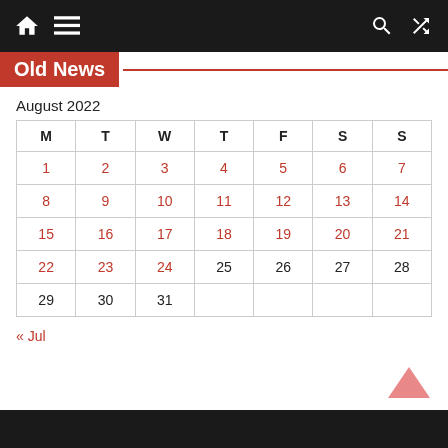Navigation bar with home, menu, search, and shuffle icons
Old News
August 2022
| M | T | W | T | F | S | S |
| --- | --- | --- | --- | --- | --- | --- |
| 1 | 2 | 3 | 4 | 5 | 6 | 7 |
| 8 | 9 | 10 | 11 | 12 | 13 | 14 |
| 15 | 16 | 17 | 18 | 19 | 20 | 21 |
| 22 | 23 | 24 | 25 | 26 | 27 | 28 |
| 29 | 30 | 31 |  |  |  |  |
« Jul